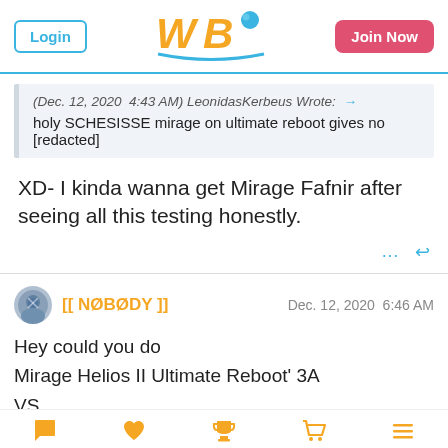Login | WBO | Join Now
(Dec. 12, 2020 4:43 AM) LeonidasKerbeus Wrote: → holy SCHESISSE mirage on ultimate reboot gives no [redacted]
XD- I kinda wanna get Mirage Fafnir after seeing all this testing honestly.
[[ N0B0DY ]] Dec. 12, 2020 6:46 AM
Hey could you do
Mirage Helios II Ultimate Reboot' 3A
VS
Rage Diabolos Xtreme' 3A
Navigation icons: chat, favorites, ranking, shop, menu